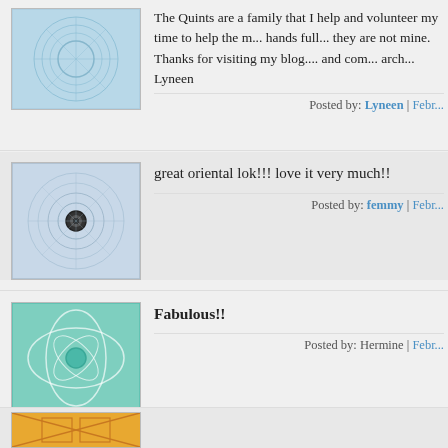The Quints are a family that I help and volunteer my time to help the m... hands full... they are not mine. Thanks for visiting my blog.... and com... arch... Lyneen
Posted by: Lyneen | Febr...
great oriental lok!!! love it very much!!
Posted by: femmy | Febr...
Fabulous!!
Posted by: Hermine | Febr...
It's a beautiful Arch!
Posted by: Janny | Febr...